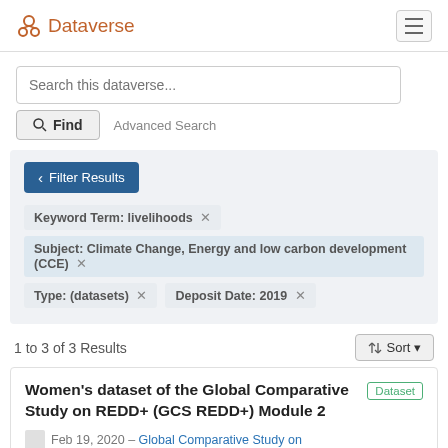Dataverse
Search this dataverse...
Find  Advanced Search
Filter Results
Keyword Term: livelihoods ✕
Subject: Climate Change, Energy and low carbon development (CCE) ✕
Type: (datasets) ✕   Deposit Date: 2019 ✕
1 to 3 of 3 Results
Sort
Women's dataset of the Global Comparative Study on REDD+ (GCS REDD+) Module 2
Dataset
Feb 19, 2020 – Global Comparative Study on